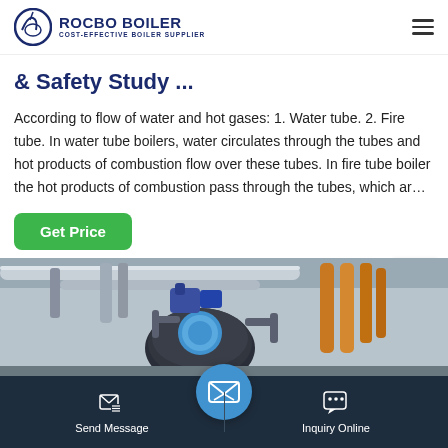ROCBO BOILER - COST-EFFECTIVE BOILER SUPPLIER
& Safety Study ...
According to flow of water and hot gases: 1. Water tube. 2. Fire tube. In water tube boilers, water circulates through the tubes and hot products of combustion flow over these tubes. In fire tube boiler the hot products of combustion pass through the tubes, which ar…
[Figure (photo): Industrial boiler room showing pipes, a large black boiler vessel, and yellow gas pipes]
Send Message | Inquiry Online